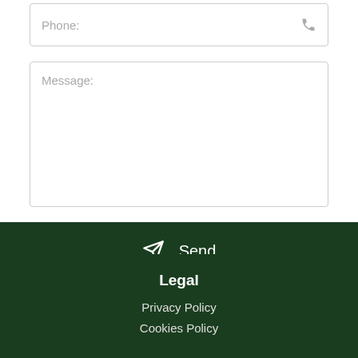[Figure (screenshot): Phone input field with placeholder text 'Phone:' and a phone icon on the right]
[Figure (screenshot): Message textarea with placeholder text 'Message:']
[Figure (screenshot): Dark green Send button with paper plane icon and 'Send' text]
Legal
Privacy Policy
Cookies Policy